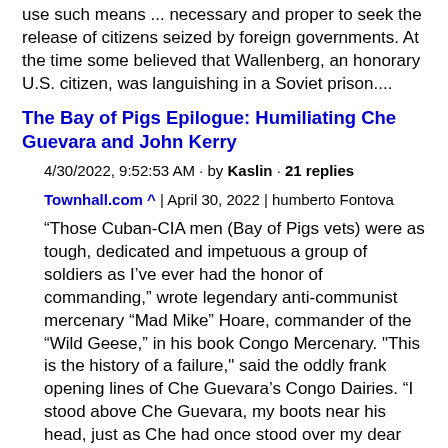use such means ... necessary and proper to seek the release of citizens seized by foreign governments. At the time some believed that Wallenberg, an honorary U.S. citizen, was languishing in a Soviet prison....
The Bay of Pigs Epilogue: Humiliating Che Guevara and John Kerry
4/30/2022, 9:52:53 AM · by Kaslin · 21 replies
Townhall.com ^ | April 30, 2022 | humberto Fontova
“Those Cuban-CIA men (Bay of Pigs vets) were as tough, dedicated and impetuous a group of soldiers as I’ve ever had the honor of commanding,” wrote legendary anti-communist mercenary “Mad Mike” Hoare, commander of the “Wild Geese,” in his book Congo Mercenary. "This is the history of a failure," said the oddly frank opening lines of Che Guevara’s Congo Dairies. “I stood above Che Guevara, my boots near his head, just as Che had once stood over my dear friend and fellow 2506 Brigade